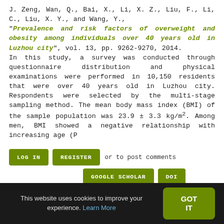J. Zeng, Wan, Q., Bai, X., Li, X. Z., Liu, F., Li, C., Liu, X. Y., and Wang, Y., "Prevalence and risk factors of overweight and obesity among individuals over 40 years old in Luzhou city", vol. 13, pp. 9262-9270, 2014. In this study, a survey was conducted through questionnaire distribution and physical examinations were performed in 10,150 residents that were over 40 years old in Luzhou city. Respondents were selected by the multi-stage sampling method. The mean body mass index (BMI) of the sample population was 23.9 ± 3.3 kg/m2. Among men, BMI showed a negative relationship with increasing age (P
LOG IN | REGISTER or to post comments | GOOGLE SCHOLAR | DOI
Retrospective analysis of live birth
This website uses cookies to improve your experience. Learn More GOT IT